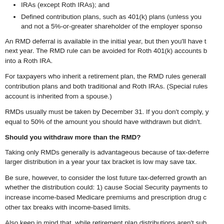IRAs (except Roth IRAs); and
Defined contribution plans, such as 401(k) plans (unless you are and not a 5%-or-greater shareholder of the employer sponso...
An RMD deferral is available in the initial year, but then you'll have to next year. The RMD rule can be avoided for Roth 401(k) accounts b... into a Roth IRA.
For taxpayers who inherit a retirement plan, the RMD rules generally contribution plans and both traditional and Roth IRAs. (Special rules... account is inherited from a spouse.)
RMDs usually must be taken by December 31. If you don't comply, y... equal to 50% of the amount you should have withdrawn but didn't.
Should you withdraw more than the RMD?
Taking only RMDs generally is advantageous because of tax-deferre... larger distribution in a year your tax bracket is low may save tax.
Be sure, however, to consider the lost future tax-deferred growth an... whether the distribution could: 1) cause Social Security payments to... increase income-based Medicare premiums and prescription drug c... other tax breaks with income-based limits.
Also keep in mind that, while retirement plan distributions aren't sub... 0.9% Medicare tax or 3.8% net investment income tax (NIIT), they a... modified adjusted gross income (MAGI). That means they could trig... NIIT, because the thresholds for that tax are based on MAGI.
For more information on RMDs or tax savings strategies for your re...